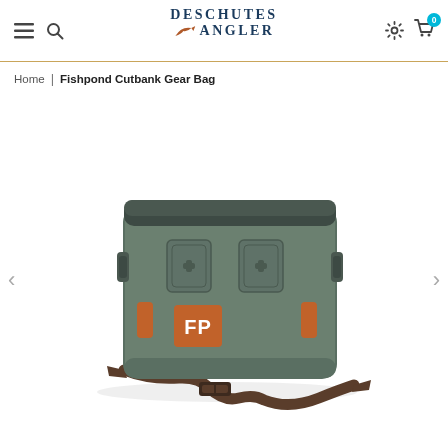Deschutes Angler — navigation header with hamburger menu, search, logo, settings, and cart (0)
Home | Fishpond Cutbank Gear Bag
[Figure (photo): Fishpond Cutbank Gear Bag product photo. A rectangular rigid olive/sage green gear bag with a dark charcoal top lid, two rectangular attachment points on the front, an orange 'FP' Fishpond logo patch at the bottom center-left, orange webbing grab handles on each side, and a brown/dark adjustable shoulder strap with a buckle lying in front of the bag. The bag has buckle clasps on both sides.]